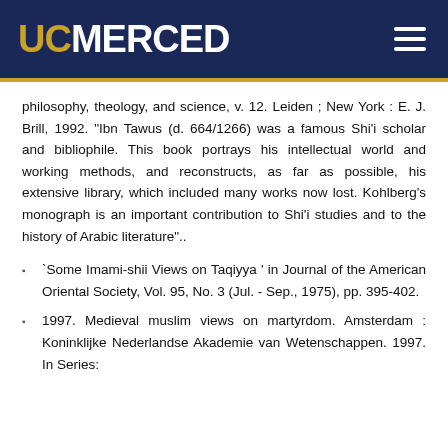UC MERCED
philosophy, theology, and science, v. 12. Leiden ; New York : E. J. Brill, 1992. "Ibn Tawus (d. 664/1266) was a famous Shi'i scholar and bibliophile. This book portrays his intellectual world and working methods, and reconstructs, as far as possible, his extensive library, which included many works now lost. Kohlberg's monograph is an important contribution to Shi'i studies and to the history of Arabic literature"..
`Some Imami-shii Views on Taqiyya ' in Journal of the American Oriental Society, Vol. 95, No. 3 (Jul. - Sep., 1975), pp. 395-402.
1997. Medieval muslim views on martyrdom. Amsterdam : Koninklijke Nederlandse Akademie van Wetenschappen. 1997. In Series: